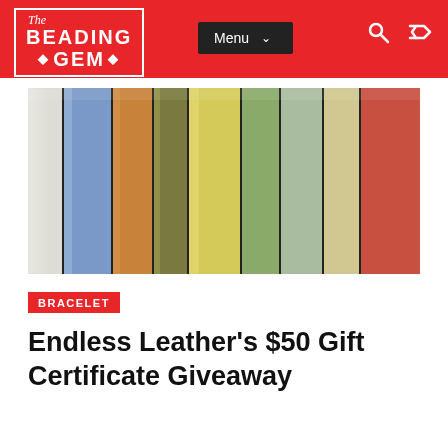The Beading Gem — Menu
[Figure (photo): Close-up of multiple colorful leather strips fanned out: white/silver, blue, orange/tan, olive/gold, yellow, sage green, light green, and terracotta/red-orange.]
BRACELET
Endless Leather's $50 Gift Certificate Giveaway